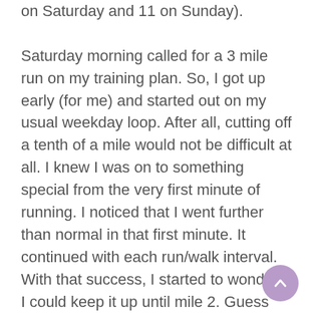on Saturday and 11 on Sunday).

Saturday morning called for a 3 mile run on my training plan. So, I got up early (for me) and started out on my usual weekday loop. After all, cutting off a tenth of a mile would not be difficult at all. I knew I was on to something special from the very first minute of running. I noticed that I went further than normal in that first minute. It continued with each run/walk interval. With that success, I started to wonder if I could keep it up until mile 2. Guess what? I did! Since I finished the second mile so fast, I decided that I needed to see if I could set a 5K PR and would extend my run for the morning. By the end, I thought I